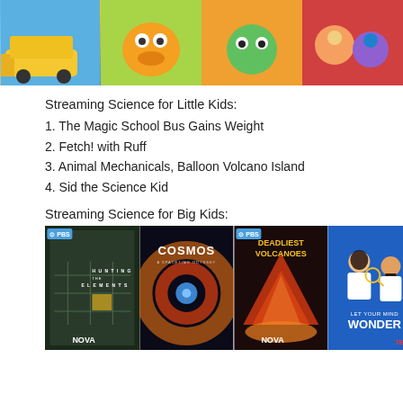[Figure (illustration): Four cartoon show thumbnails: animated school bus scene (blue/yellow), animated orange creature on green background, animated green/orange creature on orange background, animated children characters on red background]
Streaming Science for Little Kids:
1. The Magic School Bus Gains Weight
2. Fetch! with Ruff
3. Animal Mechanicals, Balloon Volcano Island
4. Sid the Science Kid
Streaming Science for Big Kids:
[Figure (illustration): Four streaming show thumbnails: Hunting the Elements (NOVA/PBS) - dark green grid background, Cosmos - space nebula image, Deadliest Volcanoes (NOVA/PBS) - volcanic eruption, Let Your Mind Wonder TED - cartoon scientists on blue background]